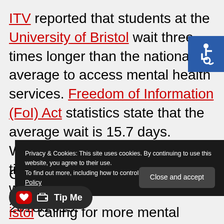ITV reported that students at the University of Bristol wait three times longer than the national average to access mental health services. Freedom of Information (FoI) Act statistics state that the average wait is 15.7 days. Whereas the average waiting time at the University of Bristol was 52 days between 2018/2019.
[Figure (other): Blue accessibility icon (wheelchair symbol) in the top-right corner]
Privacy & Cookies: This site uses cookies. By continuing to use this website, you agree to their use. To find out more, including how to control cookies, see here: Cookie Policy
Close and accept
Tip Me
...Bristol calling for more mental health support for students, amid an